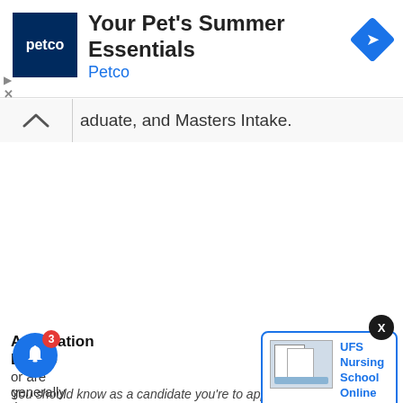[Figure (screenshot): Petco advertisement banner with Petco logo (dark blue square with 'petco' text), headline 'Your Pet's Summer Essentials', brand name 'Petco' in blue, and a blue diamond navigation icon on the right. A play button and X close button appear at lower left.]
aduate, and Masters Intake.
Application Date o
or are generally the a for applica
You should know as a candidate you're to apply at the given
[Figure (screenshot): Notification popup with blue border showing 'UFS Nursing School Online Application Form for the' with timestamp '2 days ago' and a thumbnail image of application forms.]